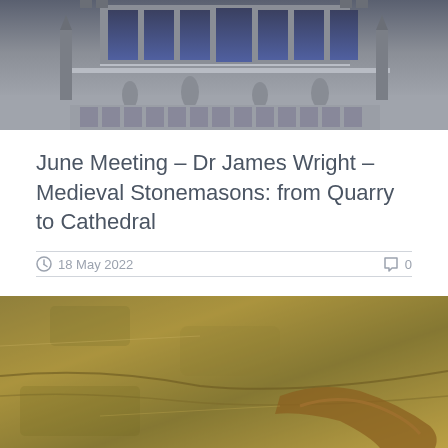[Figure (photo): Top portion of a Gothic cathedral facade showing ornate stone tracery, arched windows with stained glass, and decorative stonework sculptures]
June Meeting – Dr James Wright – Medieval Stonemasons: from Quarry to Cathedral
18 May 2022   0
After a couple of live meetings with Dr Helen Geake and Professor Tristan Carter we're heading back to Zoom for our June meeting when we...
[Figure (photo): Aerial photograph of a green field showing crop marks or earthworks in shades of ochre and brown against a grass background]